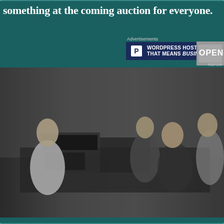something at the coming auction for everyone.
Advertisements
[Figure (screenshot): WordPress hosting advertisement banner: 'WORDPRESS HOSTING THAT MEANS BUSINESS.' with Pressable P logo in dark navy blue background]
[Figure (photo): Black and white photograph of four people (one in a lab coat, two men, one woman) gathered around electronic laboratory equipment, appearing to be from a 1970s TV show or film]
REPOR